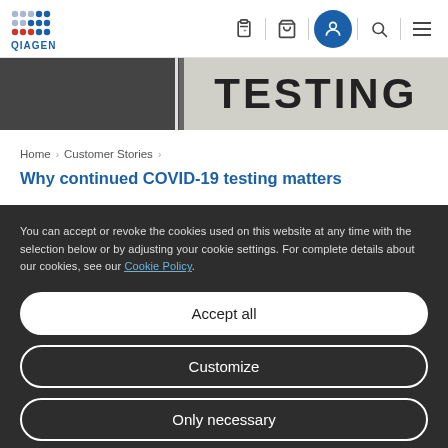QIAGEN navigation header with logo and icons
[Figure (photo): Hero image strip showing a 'TESTING' sign in bold dark letters on a white background, with a dark blurred left portion]
Home > Customer Stories >
Why continued COVID-19 testing matters
You can accept or revoke the cookies used on this website at any time with the selection below or by adjusting your cookie settings. For complete details about our cookies, see our Cookie Policy.
Accept all
Customize
Only necessary